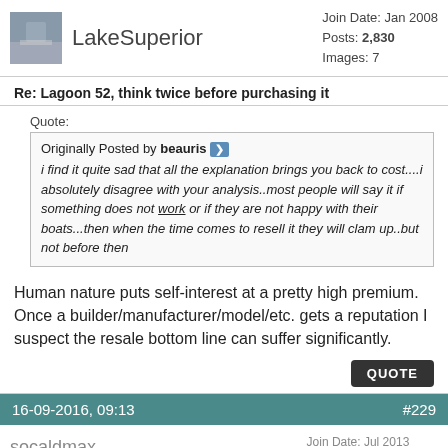LakeSuperior | Join Date: Jan 2008 | Posts: 2,830 | Images: 7
Re: Lagoon 52, think twice before purchasing it
Quote: Originally Posted by beauris — i find it quite sad that all the explanation brings you back to cost....i absolutely disagree with your analysis..most people will say it if something does not work or if they are not happy with their boats...then when the time comes to resell it they will clam up..but not before then
Human nature puts self-interest at a pretty high premium. Once a builder/manufacturer/model/etc. gets a reputation I suspect the resale bottom line can suffer significantly.
16-09-2016, 09:13   #229
socaldmax | Join Date: Jul 2013 | Location: San Diego, CA | Posts: 6,622